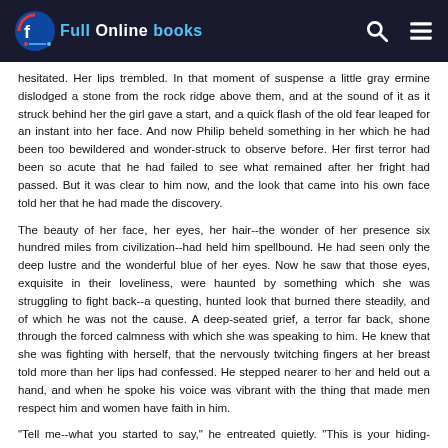Full Online Books
hesitated. Her lips trembled. In that moment of suspense a little gray ermine dislodged a stone from the rock ridge above them, and at the sound of it as it struck behind her the girl gave a start, and a quick flash of the old fear leaped for an instant into her face. And now Philip beheld something in her which he had been too bewildered and wonder-struck to observe before. Her first terror had been so acute that he had failed to see what remained after her fright had passed. But it was clear to him now, and the look that came into his own face told her that he had made the discovery.
The beauty of her face, her eyes, her hair--the wonder of her presence six hundred miles from civilization--had held him spellbound. He had seen only the deep lustre and the wonderful blue of her eyes. Now he saw that those eyes, exquisite in their loveliness, were haunted by something which she was struggling to fight back--a questing, hunted look that burned there steadily, and of which he was not the cause. A deep-seated grief, a terror far back, shone through the forced calmness with which she was speaking to him. He knew that she was fighting with herself, that the nervously twitching fingers at her breast told more than her lips had confessed. He stepped nearer to her and held out a hand, and when he spoke his voice was vibrant with the thing that made men respect him and women have faith in him.
"Tell me--what you started to say," he entreated quietly. "This is your hiding-place, and you thought--what? I think that I can guess. You thought that I was some one else, whom you have reason to fear."
She did not answer. It was as if she had not yet completely measured him. Her eyes told him that. They were not looking AT him, but INTO him. And they were so beautiful, so pitiably frightened, so frankly looking into his own...